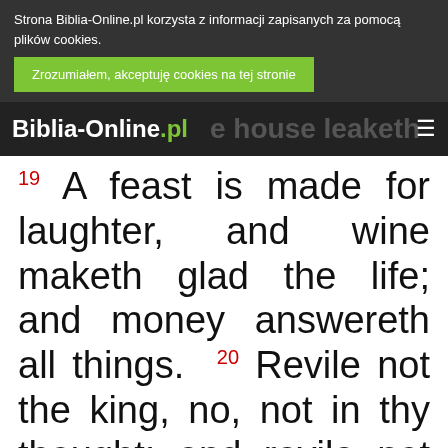Strona Biblia-Online.pl korzysta z informacji zapisanych za pomocą plików cookies. Zrozumiałem, akceptuję cookies na tej stronie
Biblia-Online.pl ... house leaketh ≡
19 A feast is made for laughter, and wine maketh glad the life; and money answereth all things. 20 Revile not the king, no, not in thy thought; and revile not the rich in thy bedchamber: for a bird of the heavens shall carry the voice, and that which hath